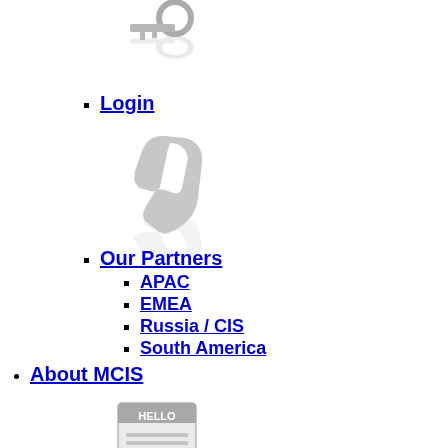[Figure (illustration): Gray key icon with reflection, representing login]
Login
[Figure (illustration): Gray telephone/handset icon with reflection, representing Our Partners]
Our Partners
APAC
EMEA
Russia / CIS
South America
About MCIS
[Figure (illustration): HELLO name-tag/badge icon with reflection, representing Introduction]
Introduction